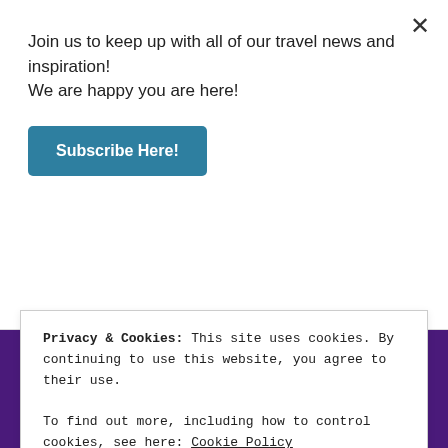Join us to keep up with all of our travel news and inspiration! We are happy you are here!
Subscribe Here!
[Figure (logo): Amazon logo with orange arrow, above cropped image of legs wearing blue/grey knee-high socks]
Privacy & Cookies: This site uses cookies. By continuing to use this website, you agree to their use.
To find out more, including how to control cookies, see here: Cookie Policy
Close and accept